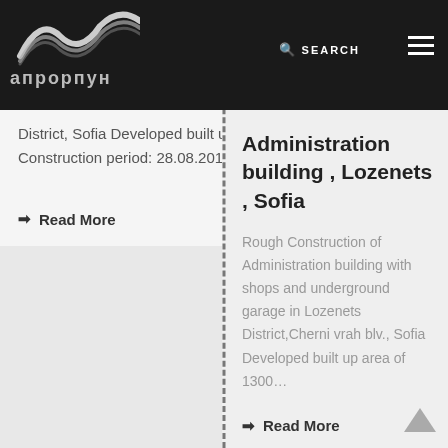aprorpyn — navigation header with logo, SEARCH and menu icon
District, Sofia Developed built up area of 1975 sq. m Construction period: 28.08.2013 – 8.01.2014
→ Read More
Administration building , Lozenets , Sofia
Rough Construction of Administration building with shops and underground garage in Lozenets District,Cherni vrah blv., Sofia Developed built up area of 1300…
→ Read More